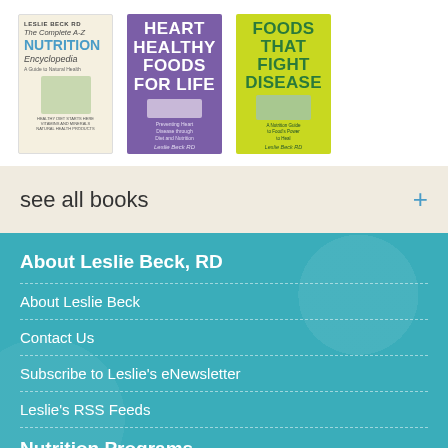[Figure (photo): Three book covers by Leslie Beck RD: 'The Complete A-Z Nutrition Encyclopedia', 'Heart Healthy Foods For Life', and 'Foods That Fight Disease']
see all books +
About Leslie Beck, RD
About Leslie Beck
Contact Us
Subscribe to Leslie's eNewsletter
Leslie's RSS Feeds
Nutrition Programs
Working with Leslie
Three Month Weight Management P…